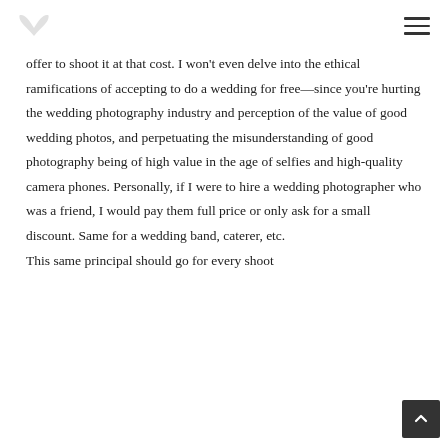[logo] [hamburger menu]
offer to shoot it at that cost. I won't even delve into the ethical ramifications of accepting to do a wedding for free—since you're hurting the wedding photography industry and perception of the value of good wedding photos, and perpetuating the misunderstanding of good photography being of high value in the age of selfies and high-quality camera phones. Personally, if I were to hire a wedding photographer who was a friend, I would pay them full price or only ask for a small discount. Same for a wedding band, caterer, etc.
This same principal should go for every shoot